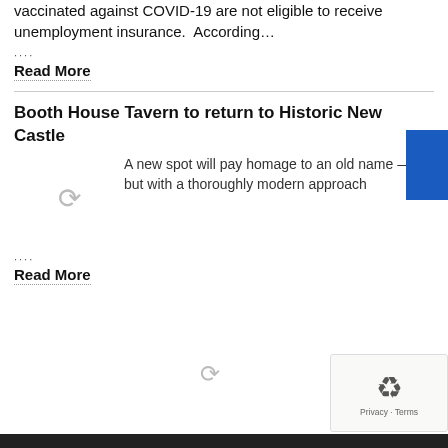vaccinated against COVID-19 are not eligible to receive unemployment insurance. According…
....
Read More
Booth House Tavern to return to Historic New Castle
A new spot will pay homage to an old name — but with a thoroughly modern approach
....
Read More